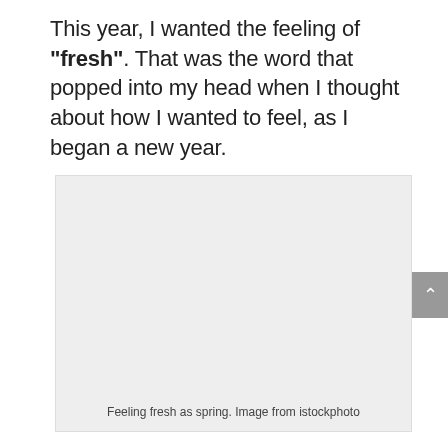This year, I wanted the feeling of "fresh".  That was the word that popped into my head when I thought about how I wanted to feel, as I began a new year.
[Figure (photo): A light grey placeholder image representing a photo captioned 'Feeling fresh as spring. Image from istockphoto']
Feeling fresh as spring. Image from istockphoto